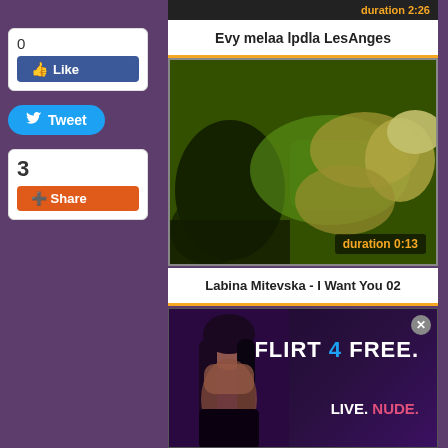duration 2:26
Evy melaa lpdla LesAnges
[Figure (photo): Video thumbnail showing a person lying down with green-tinted lighting]
duration 0:13
Labina Mitevska - I Want You 02
[Figure (photo): Advertisement for FLIRT 4 FREE - LIVE. NUDE. showing a woman with long dark hair]
0
Like
Tweet
3
Share